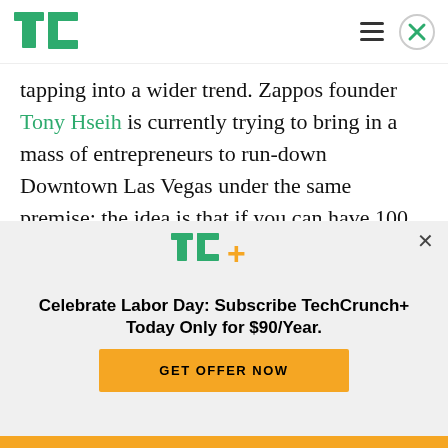TechCrunch logo and navigation
tapping into a wider trend. Zappos founder Tony Hseih is currently trying to bring in a mass of entrepreneurs to run-down Downtown Las Vegas under the same premise: the idea is that if you can have 100 residents per acre, this creates a productive amount of “collisionable” hours where users can run into each other and
[Figure (logo): TC+ logo in green with yellow plus sign]
Celebrate Labor Day: Subscribe TechCrunch+ Today Only for $90/Year.
GET OFFER NOW